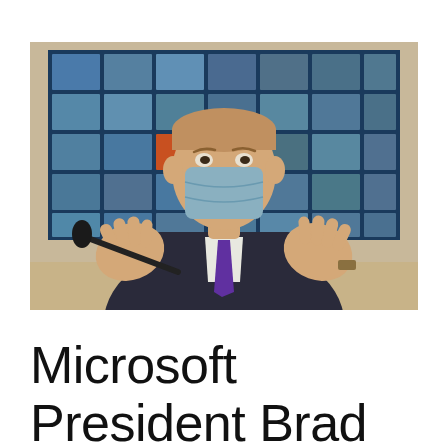[Figure (photo): A man wearing a face mask and dark suit with a purple tie sits at a hearing table with his hands raised gesturing. Behind him is a large screen displaying a video conference grid of participants.]
Microsoft President Brad